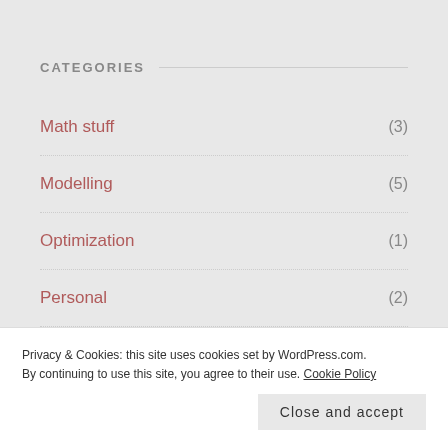CATEGORIES
Math stuff (3)
Modelling (5)
Optimization (1)
Personal (2)
Rendering (6)
Privacy & Cookies: this site uses cookies set by WordPress.com. By continuing to use this site, you agree to their use. Cookie Policy
Close and accept